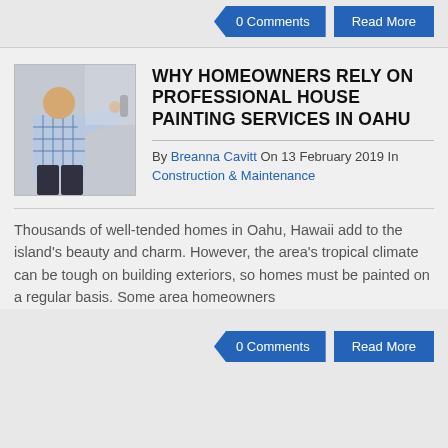0 Comments   Read More
[Figure (photo): Person in plaid shirt painting a wall, photo thumbnail]
WHY HOMEOWNERS RELY ON PROFESSIONAL HOUSE PAINTING SERVICES IN OAHU
By Breanna Cavitt On 13 February 2019 In Construction & Maintenance
Thousands of well-tended homes in Oahu, Hawaii add to the island's beauty and charm. However, the area's tropical climate can be tough on building exteriors, so homes must be painted on a regular basis. Some area homeowners
0 Comments   Read More